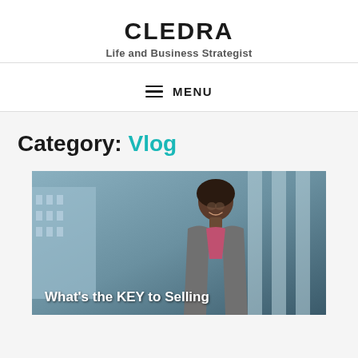CLEDRA
Life and Business Strategist
≡ MENU
Category: Vlog
[Figure (photo): A smiling professional Black woman in a gray blazer and pink shirt standing outdoors in front of a modern building. Text overlay reads: What's the KEY to Selling]